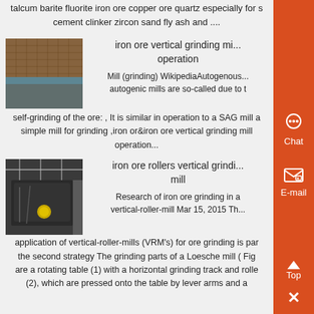talcum barite fluorite iron ore copper ore quartz especially for s... cement clinker zircon sand fly ash and ....
[Figure (photo): Close-up photo of a mesh or grid material, likely a mill screen or industrial filter]
iron ore vertical grinding mill operation
Mill (grinding) WikipediaAutogenous... autogenic mills are so-called due to the self-grinding of the ore: , It is similar in operation to a SAG mill a simple mill for grinding ,iron or&iron ore vertical grinding mill operation...
[Figure (photo): Photo of a large industrial vertical roller mill machine in a factory setting]
iron ore rollers vertical grinding mill
Research of iron ore grinding in a vertical-roller-mill Mar 15, 2015 The application of vertical-roller-mills (VRM's) for ore grinding is par the second strategy The grinding parts of a Loesche mill ( Fig are a rotating table (1) with a horizontal grinding track and rolle (2), which are pressed onto the table by lever arms and a